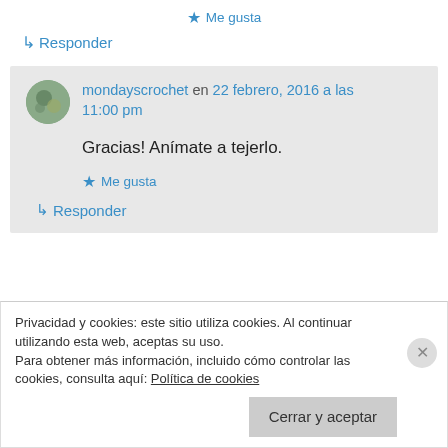★ Me gusta
↳ Responder
mondayscrochet en 22 febrero, 2016 a las 11:00 pm
Gracias! Anímate a tejerlo.
★ Me gusta
↳ Responder
Privacidad y cookies: este sitio utiliza cookies. Al continuar utilizando esta web, aceptas su uso.
Para obtener más información, incluido cómo controlar las cookies, consulta aquí: Política de cookies
Cerrar y aceptar